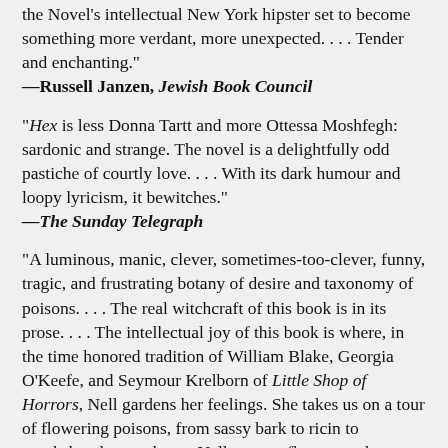the Novel's intellectual New York hipster set to become something more verdant, more unexpected. . . . Tender and enchanting."
—Russell Janzen, Jewish Book Council
"Hex is less Donna Tartt and more Ottessa Moshfegh: sardonic and strange. The novel is a delightfully odd pastiche of courtly love. . . . With its dark humour and loopy lyricism, it bewitches."
—The Sunday Telegraph
"A luminous, manic, clever, sometimes-too-clever, funny, tragic, and frustrating botany of desire and taxonomy of poisons. . . . The real witchcraft of this book is in its prose. . . . The intellectual joy of this book is where, in the time honored tradition of William Blake, Georgia O'Keefe, and Seymour Krelborn of Little Shop of Horrors, Nell gardens her feelings. She takes us on a tour of flowering poisons, from sassy bark to ricin to monkshood, to cashews. Nell presses flowers and poisons and desires into her journal until they become a single universal language. . . . If you're a fan of desire, if you're a fan of